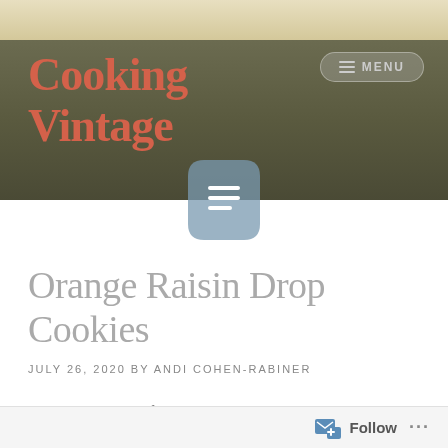Cooking Vintage
[Figure (logo): Document/page icon in blue-gray color]
Orange Raisin Drop Cookies
JULY 26, 2020 BY ANDI COHEN-RABINER
A Recipe from America's Bake-Off 100 winning recipes from Bake-Off 28 (1978)
Follow ...